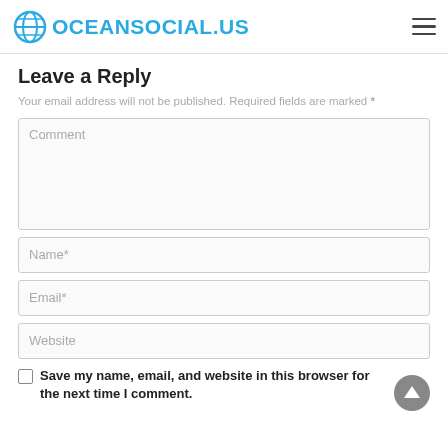OCEANSOCIAL.US
Leave a Reply
Your email address will not be published. Required fields are marked *
Comment
Name*
Email*
Website
Save my name, email, and website in this browser for the next time I comment.